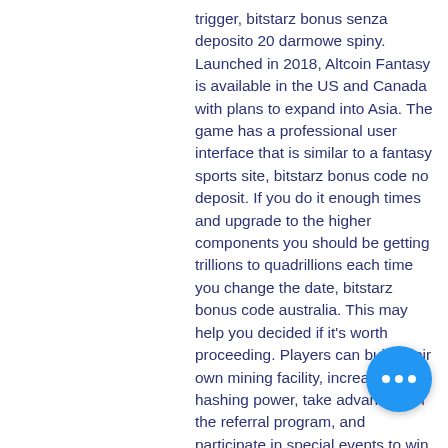trigger, bitstarz bonus senza deposito 20 darmowe spiny. Launched in 2018, Altcoin Fantasy is available in the US and Canada with plans to expand into Asia. The game has a professional user interface that is similar to a fantasy sports site, bitstarz bonus code no deposit. If you do it enough times and upgrade to the higher components you should be getting trillions to quadrillions each time you change the date, bitstarz bonus code australia. This may help you decided if it's worth proceeding. Players can build their own mining facility, increase their hashing power, take advantage of the referral program, and participate in special events to win prizes. Payouts are made directly to the BitCoin wallet with a minimum of 10,000 satoshis, bitstarz bonus senza deposito 20 giri gratuiti. You can win up to 700. We small 2 man company from Germany can find our details in the impressum on the
[Figure (other): Blue circular chat button with three dots (ellipsis) icon]